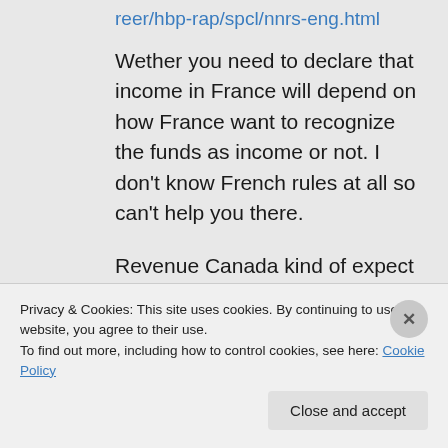reer/hbp-rap/spcl/nnrs-eng.html
Wether you need to declare that income in France will depend on how France want to recognize the funds as income or not. I don't know French rules at all so can't help you there.
Revenue Canada kind of expect you to file taxes unless you have declared yourself non-resident with them which is a bit of a
Privacy & Cookies: This site uses cookies. By continuing to use this website, you agree to their use.
To find out more, including how to control cookies, see here: Cookie Policy
Close and accept